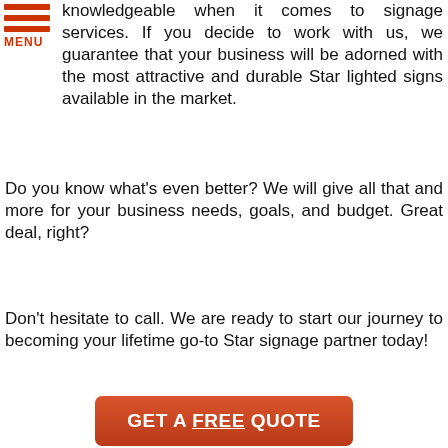[Figure (logo): Hamburger menu icon with three red horizontal bars and MENU label in red/orange]
knowledgeable when it comes to signage services. If you decide to work with us, we guarantee that your business will be adorned with the most attractive and durable Star lighted signs available in the market.
Do you know what's even better? We will give all that and more for your business needs, goals, and budget. Great deal, right?
Don't hesitate to call. We are ready to start our journey to becoming your lifetime go-to Star signage partner today!
[Figure (other): Orange-red rounded rectangle button with white bold text: GET A FREE QUOTE (FREE is underlined)]
Free Lighted Signs Consultation
[Figure (logo): Idaho Signs company logo with colorful letters iDAHO and an orange circle person icon, plus phone and email contact icons]